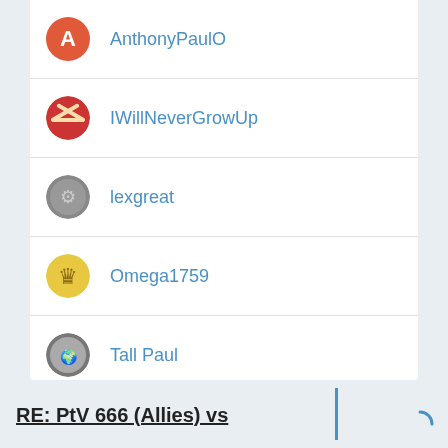AnthonyPaulO
IWillNeverGrowUp
lexgreat
Omega1759
Tall Paul
boldfresh
Fishmoto37
Young Grasshopper
dutchmand
RE: PtV 666 (Allies) vs